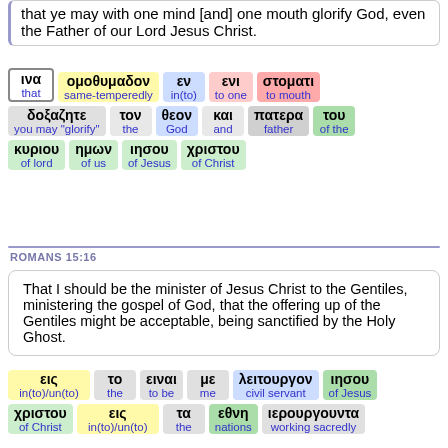that ye may with one mind [and] one mouth glorify God, even the Father of our Lord Jesus Christ.
[Figure (other): Interlinear Greek-English display: ινα ομοθυμαδον εν ενι στοματι / that same-temperedly in(to) to one to mouth / δοξαζητε τον θεον και πατερα του / you may glorify the God and father of the / κυριου ημων ιησου χριστου / of lord of us of Jesus of Christ]
ROMANS 15:16
That I should be the minister of Jesus Christ to the Gentiles, ministering the gospel of God, that the offering up of the Gentiles might be acceptable, being sanctified by the Holy Ghost.
[Figure (other): Interlinear Greek-English display: εις το ειναι με λειτουργον ιησου / in(to)/un(to) the to be me civil servant of Jesus / χριστου εις τα εθνη ιερουργουντα / of Christ in(to)/un(to) the nations working sacredly]